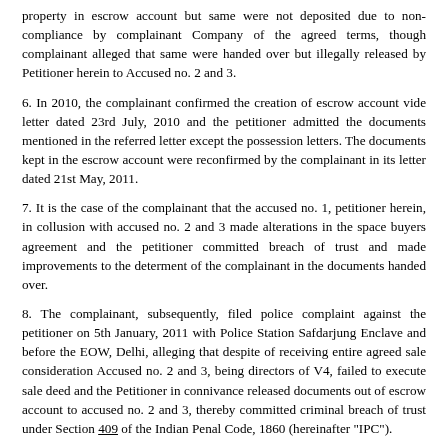property in escrow account but same were not deposited due to non-compliance by complainant Company of the agreed terms, though complainant alleged that same were handed over but illegally released by Petitioner herein to Accused no. 2 and 3.
6. In 2010, the complainant confirmed the creation of escrow account vide letter dated 23rd July, 2010 and the petitioner admitted the documents mentioned in the referred letter except the possession letters. The documents kept in the escrow account were reconfirmed by the complainant in its letter dated 21st May, 2011.
7. It is the case of the complainant that the accused no. 1, petitioner herein, in collusion with accused no. 2 and 3 made alterations in the space buyers agreement and the petitioner committed breach of trust and made improvements to the determent of the complainant in the documents handed over.
8. The complainant, subsequently, filed police complaint against the petitioner on 5th January, 2011 with Police Station Safdarjung Enclave and before the EOW, Delhi, alleging that despite of receiving entire agreed sale consideration Accused no. 2 and 3, being directors of V4, failed to execute sale deed and the Petitioner in connivance released documents out of escrow account to accused no. 2 and 3, thereby committed criminal breach of trust under Section 409 of the Indian Penal Code, 1860 (hereinafter "IPC").
9. Application under Section 156(3) of the Cr.P.C. was also filed by the complainant, and vide order dated 30th June, 2011, the same was dismissed. However, cognizance was taken upon the complaint of the complainant and he was asked to lead pre-summoning evidence, in which the CW1 to CW4 were examined and all supported the story of the CW1, Rajender Kumar Jindal.
10. The complainant thereafter, approached the learned Additional Sessions